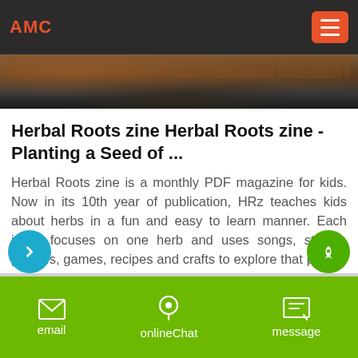AMC
[Figure (photo): Hero image strip showing a dark outdoor scene with brick/stone wall and figures]
Herbal Roots zine Herbal Roots zine - Planting a Seed of ...
Herbal Roots zine is a monthly PDF magazine for kids. Now in its 10th year of publication, HRz teaches kids about herbs in a fun and easy to learn manner. Each issue focuses on one herb and uses songs, stories, puzzles, games, recipes and crafts to explore that plant''s many varied uses.
email   onlineChat   message